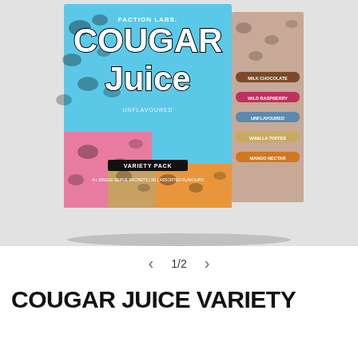[Figure (photo): Product photo of Faction Labs Cougar Juice Variety Pack box with leopard print pattern in blue, pink, orange and tan colors. The box shows 'COUGAR JUICE' branding and lists flavor options including Milk Chocolate, Wild Raspberry, Unflavoured, Vanilla Toffee, and Mango Nectar.]
1/2
COUGAR JUICE VARIETY